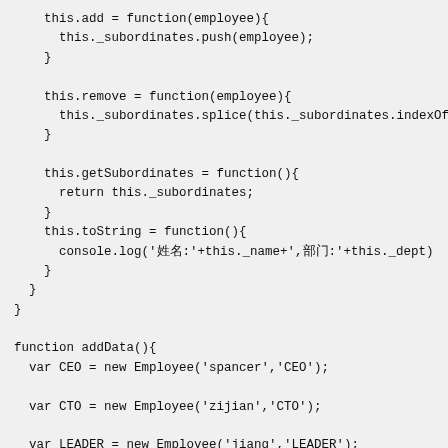this.add = function(employee){
      this._subordinates.push(employee);
    }

    this.remove = function(employee){
      this._subordinates.splice(this._subordinates.indexOf(e
    }

    this.getSubordinates = function(){
      return this._subordinates;
    }
    this.toString = function(){
      console.log('姓名:'+this._name+',部门:'+this._dept)
    }
  }
}

function addData(){
  var CEO = new Employee('spancer','CEO');

  var CTO = new Employee('zijian','CTO');

  var LEADER = new Employee('jiang','LEADER');

  var JAVA_LEADER = new Employee('fei','JAVA_LEADER');
  var FE_LEADER = new Employee('risker','FE_LEADER');

  var wh = new Employee('wanghui','FE');
  var si = new Employee('si','FE');
  var amy = new Employee('amy','FE');

  var wei = new Employee('wei','JAVA');